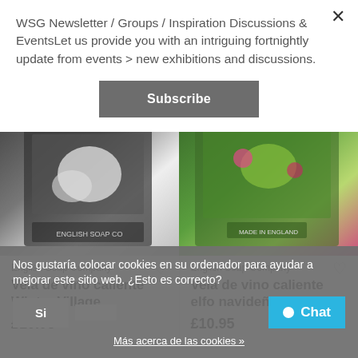WSG Newsletter / Groups / Inspiration Discussions & EventsLet us provide you with an intriguing fortnightly update from events > new exhibitions and discussions.
Subscribe
[Figure (photo): Two product images side by side: left shows a dark-packaged soap/candle with snowy scene (English Soap Company), right shows a green tropical-patterned box (English Soap Company)]
English Soap Company
Vela de vino caliente Winter Village
£10.95
English Soap Company
Vela de vino caliente elfo navideño
£10.95
Nos gustaría colocar cookies en su ordenador para ayudar a mejorar este sitio web. ¿Esto es correcto?
Si
Más acerca de las cookies »